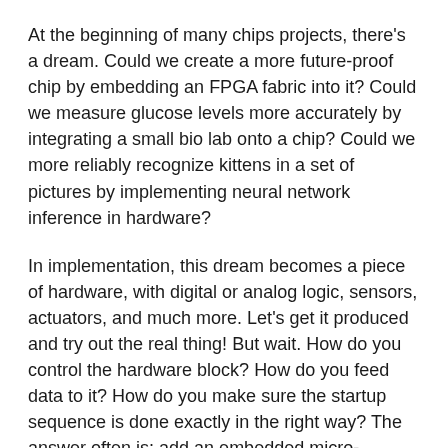At the beginning of many chips projects, there's a dream. Could we create a more future-proof chip by embedding an FPGA fabric into it? Could we measure glucose levels more accurately by integrating a small bio lab onto a chip? Could we more reliably recognize kittens in a set of pictures by implementing neural network inference in hardware?
In implementation, this dream becomes a piece of hardware, with digital or analog logic, sensors, actuators, and much more. Let's get it produced and try out the real thing! But wait. How do you control the hardware block? How do you feed data to it? How do you make sure the startup sequence is done exactly in the right way? The answer often is: add an embedded micro-controller core to handle the control logic. A small, efficient, and rock-solid core. Where could you get such a core?
Say hello to Ibex: a small, 32-bit microcontroller-class RISC-V CPU core written in SystemVerilog. Reliable,